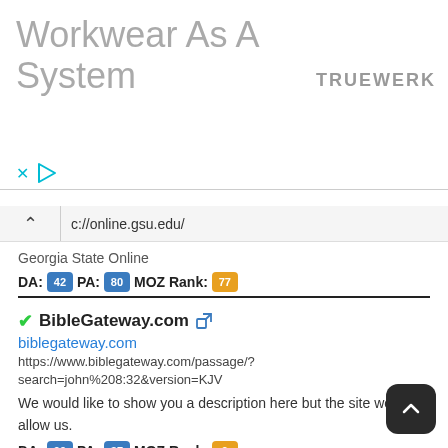[Figure (other): Ad banner with large light gray text 'Workkwear As A System' and brand name 'TRUEWERK' on right, with close and play icons below text]
c://online.gsu.edu/
Georgia State Online
DA: 42  PA: 80  MOZ Rank: 77
✓BibleGateway.com
biblegateway.com
https://www.biblegateway.com/passage/?
search=john%208:32&version=KJV
We would like to show you a description here but the site won't allow us.
DA: 99  PA: 37  MOZ Rank: 9
✓KANYE WEST
kanyewest.com
https://shop.kanyewest.com/